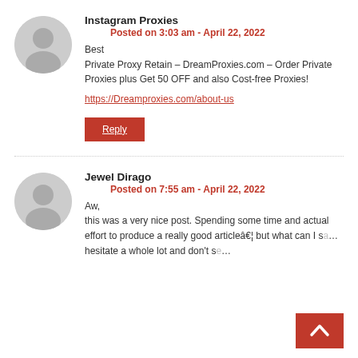Instagram Proxies
Posted on 3:03 am - April 22, 2022
Best
Private Proxy Retain – DreamProxies.com – Order Private Proxies plus Get 50 OFF and also Cost-free Proxies!
https://Dreamproxies.com/about-us
Reply
Jewel Dirago
Posted on 7:55 am - April 22, 2022
Aw, this was a very nice post. Spending some time and actual effort to produce a really good article… but what can I say… I hesitate a whole lot and don't se…